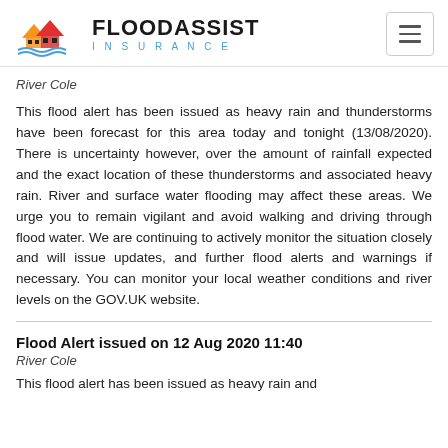FLOOD ASSIST INSURANCE
River Cole
This flood alert has been issued as heavy rain and thunderstorms have been forecast for this area today and tonight (13/08/2020). There is uncertainty however, over the amount of rainfall expected and the exact location of these thunderstorms and associated heavy rain. River and surface water flooding may affect these areas. We urge you to remain vigilant and avoid walking and driving through flood water. We are continuing to actively monitor the situation closely and will issue updates, and further flood alerts and warnings if necessary. You can monitor your local weather conditions and river levels on the GOV.UK website.
Flood Alert issued on 12 Aug 2020 11:40
River Cole
This flood alert has been issued as heavy rain and